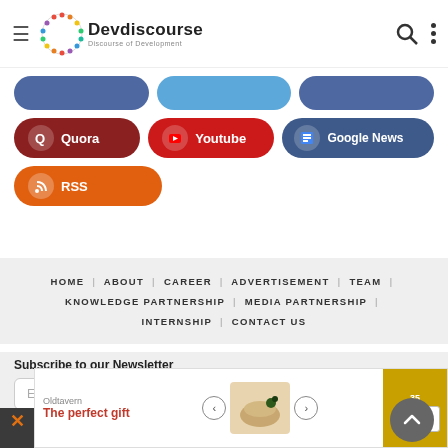[Figure (logo): Devdiscourse logo with colorful ring and text 'Discourse of Development']
[Figure (infographic): Social media button row: blue Facebook-style buttons (partially visible at top), then Quora (dark red), Youtube (red), Google News (blue-grey), RSS (orange)]
HOME | ABOUT | CAREER | ADVERTISEMENT | TEAM | KNOWLEDGE PARTNERSHIP | MEDIA PARTNERSHIP | INTERNSHIP | CONTACT US
Subscribe to our Newsletter
[Figure (screenshot): Ad banner: 'The perfect gift' with food imagery and navigation arrows, gold section with FREE SHIPPING text]
Dark footer background area